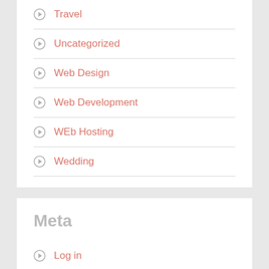Travel
Uncategorized
Web Design
Web Development
WEb Hosting
Wedding
Meta
Log in